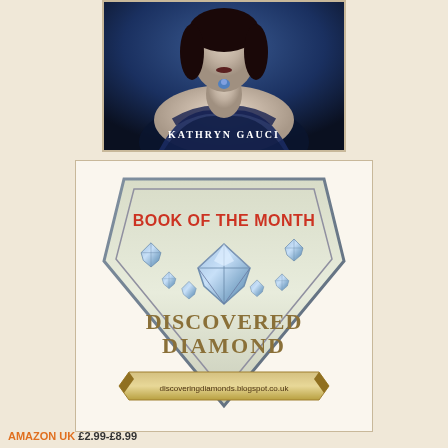[Figure (photo): Book cover image showing a woman in period costume against a dark blue background, with author name KATHRYN GAUCI at the bottom]
[Figure (illustration): Discovered Diamond Book of the Month badge/seal showing a diamond shape with the text BOOK OF THE MONTH in red, DISCOVERED DIAMOND in gold/brown, diamond gem illustration, and discoveringdiamonds.blogspot.co.uk URL on a banner]
AMAZON UK £2.99-£8.99